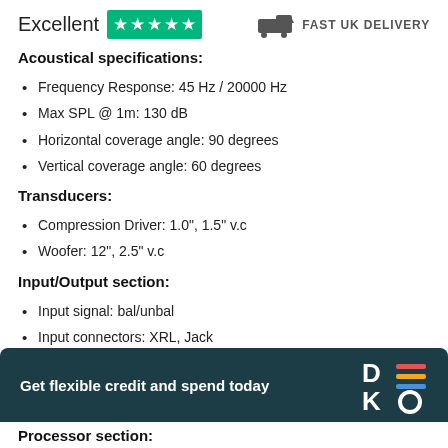Excellent ★★★★★  FAST UK DELIVERY
Acoustical specifications:
Frequency Response: 45 Hz / 20000 Hz
Max SPL @ 1m: 130 dB
Horizontal coverage angle: 90 degrees
Vertical coverage angle: 60 degrees
Transducers:
Compression Driver: 1.0", 1.5" v.c
Woofer: 12", 2.5" v.c
Input/Output section:
Input signal: bal/unbal
Input connectors: XRL, Jack
Output connectors: XLR
Get flexible credit and spend today
Processor section: